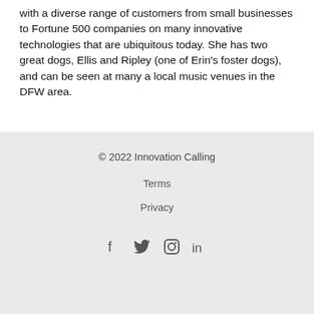with a diverse range of customers from small businesses to Fortune 500 companies on many innovative technologies that are ubiquitous today. She has two great dogs, Ellis and Ripley (one of Erin's foster dogs), and can be seen at many a local music venues in the DFW area.
© 2022 Innovation Calling
Terms
Privacy